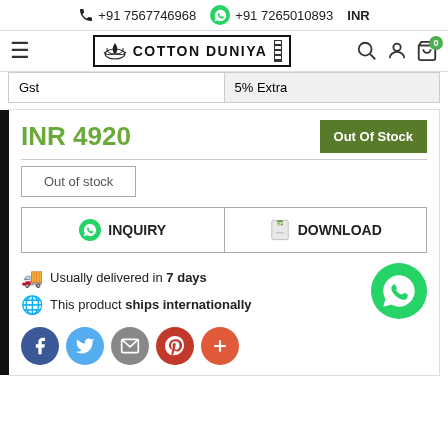+91 7567746968  +91 7265010893  INR
[Figure (logo): Cotton Duniya logo with lotus icon, hamburger menu, search, user, and cart icons]
| Gst | 5% Extra |
INR 4920
Out Of Stock
Out of stock
INQUIRY
DOWNLOAD
Usually delivered in 7 days
This product ships internationally